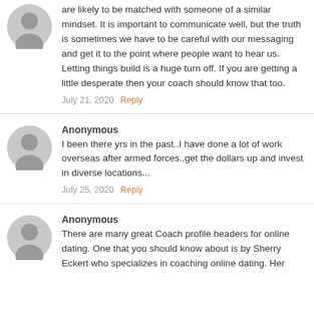are likely to be matched with someone of a similar mindset. It is important to communicate well, but the truth is sometimes we have to be careful with our messaging and get it to the point where people want to hear us. Letting things build is a huge turn off. If you are getting a little desperate then your coach should know that too.
July 21, 2020  Reply
Anonymous
I been there yrs in the past..I have done a lot of work overseas after armed forces..get the dollars up and invest in diverse locations...
July 25, 2020  Reply
Anonymous
There are many great Coach profile headers for online dating. One that you should know about is by Sherry Eckert who specializes in coaching online dating. Her